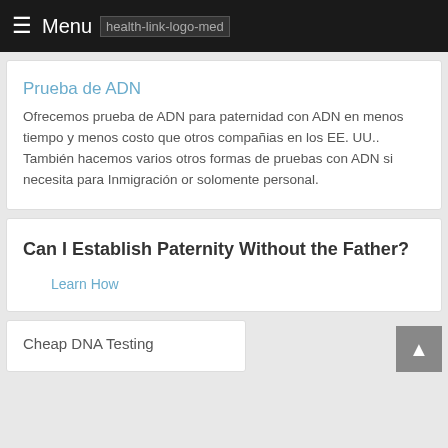Menu health-link-logo-med
Prueba de ADN
Ofrecemos prueba de ADN para paternidad con ADN en menos tiempo y menos costo que otros compañias en los EE. UU.. También hacemos varios otros formas de pruebas con ADN si necesita para Inmigración or solomente personal.
Can I Establish Paternity Without the Father?
Learn How
Cheap DNA Testing